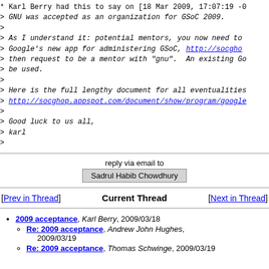* Karl Berry had this to say on [18 Mar 2009, 17:07:19 -0
> GNU was accepted as an organization for GSoC 2009.
>
> As I understand it: potential mentors, you now need to
> Google's new app for administering GSoC, http://socgho
> then request to be a mentor with "gnu".  An existing Go
> be used.
>
> Here is the full lengthy document for all eventualities
> http://socghop.appspot.com/document/show/program/google
>
> Good luck to us all,
> karl
>
reply via email to
Sadrul Habib Chowdhury
[Prev in Thread]  Current Thread  [Next in Thread]
2009 acceptance, Karl Berry, 2009/03/18
Re: 2009 acceptance, Andrew John Hughes, 2009/03/19
Re: 2009 acceptance, Thomas Schwinge, 2009/03/19